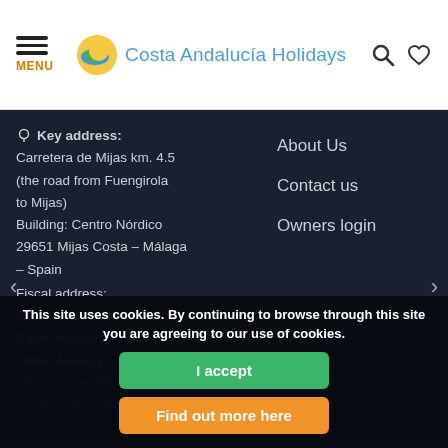MENU | Costa Andalucia Holidays
Key address: Carretera de Mijas km. 4.5 (the road from Fuengirola to Mijas) Building: Centro Nórdico 29651 Mijas Costa – Málaga – Spain Fiscal address: Costa Andalucia Homes S.L. Calle Alejandro Dumas, 17 29004 Málaga VAT number: B92302745
Tel: +00 (34) 691 694 528
www.coastandaluc...
About Us
Contact us
Owners login
This site uses cookies. By continuing to browse through this site you are agreeing to our use of cookies.
I accept
Find out more here